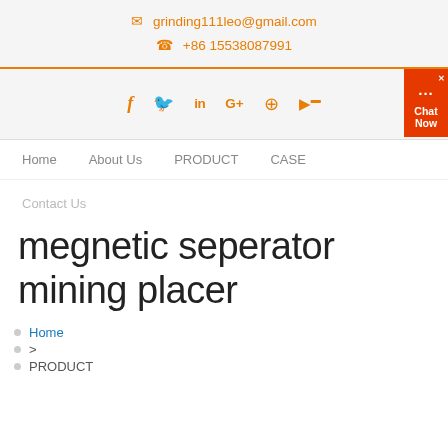grinding111leo@gmail.com  +86 15538087991
[Figure (other): Social media icons: Facebook, Twitter, LinkedIn, Google+, Pinterest, YouTube. Chat Now widget on the right.]
Home    About Us    PRODUCT    CASE
Contact Us
megnetic seperator mining placer
Home
>
PRODUCT